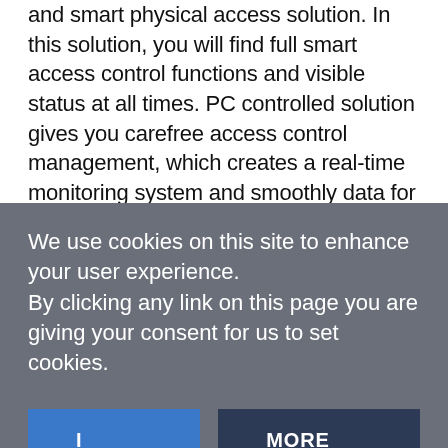and smart physical access solution. In this solution, you will find full smart access control functions and visible status at all times. PC controlled solution gives you carefree access control management, which creates a real-time monitoring system and smoothly data for central managers to check exact access status in each IP address. With purpose to greatly reduce installation cost, the PC server managed system can be effectively controlled centrally in central office with simple installation, which largely saves time and costs in both system establishment and operational management. Featured with multi-techniques to read & write Mifare, DESfire EV1, Mifare Plus, Sony Felica, and even popular ISO18092 NFC. CN56X0B can upgrade access
We use cookies on this site to enhance your user experience.
By clicking any link on this page you are giving your consent for us to set cookies.
I AGREE
MORE INFO